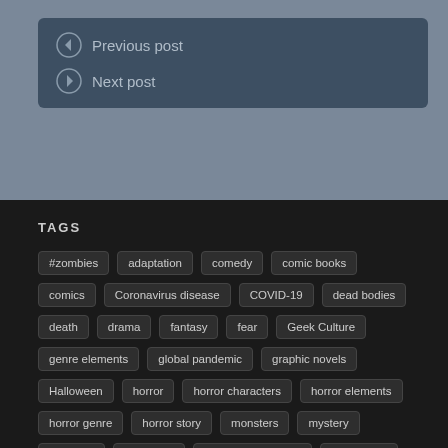[Figure (screenshot): Dark gray/blue navigation box with Previous post and Next post links on a gray background]
TAGS
#zombies
adaptation
comedy
comic books
comics
Coronavirus disease
COVID-19
dead bodies
death
drama
fantasy
fear
Geek Culture
genre elements
global pandemic
graphic novels
Halloween
horror
horror characters
horror elements
horror genre
horror story
monsters
mystery
nashville
pandemic
pandemic outbreak
pandemics
pop culture
pop culture references
popular culture
sci-fi
science fiction